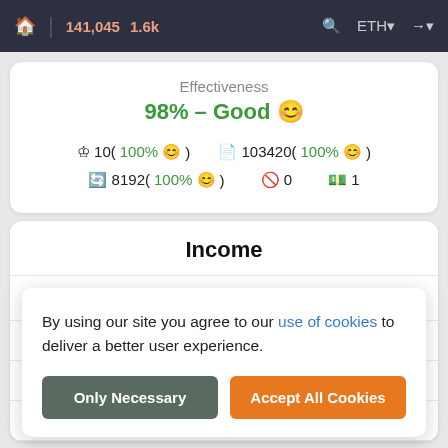🏠 | 141,045 1.6k  🔍 ETH ➡
Effectiveness
98% - Good 😊
10(100% 😊)   103420(100% 😊)   8192(100% 😊)   0   1
Income
Day  +0.00332 ETH
W
M
AP
By using our site you agree to our use of cookies to deliver a better user experience.
Only Necessary
Accept All Cookies